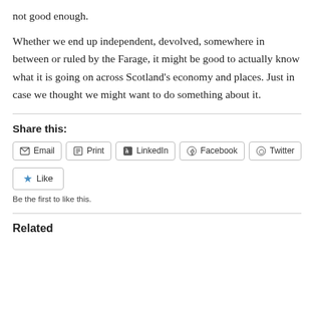not good enough.
Whether we end up independent, devolved, somewhere in between or ruled by the Farage, it might be good to actually know what it is going on across Scotland's economy and places. Just in case we thought we might want to do something about it.
Share this:
Email
Print
LinkedIn
Facebook
Twitter
Like
Be the first to like this.
Related